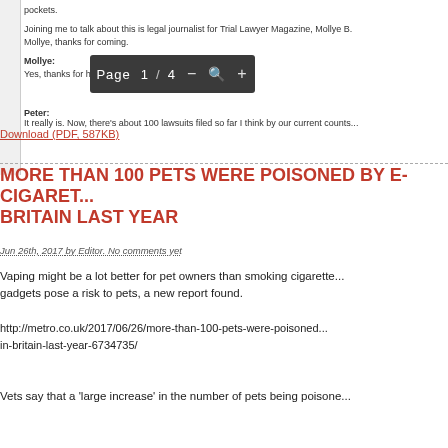pockets.
Joining me to talk about this is legal journalist for Trial Lawyer Magazine, Mollye B. Mollye, thanks for coming.
Mollye:
Yes, thanks for having me Peter. This is a crazy story.
Peter:
It really is. Now, there's about 100 lawsuits filed so far I think by our current counts...
Download (PDF, 587KB)
MORE THAN 100 PETS WERE POISONED BY E-CIGARETTES IN BRITAIN LAST YEAR
Jun 26th, 2017 by Editor. No comments yet
Vaping might be a lot better for pet owners than smoking cigarettes, but the gadgets pose a risk to pets, a new report found.
http://metro.co.uk/2017/06/26/more-than-100-pets-were-poisoned-by-e-cigarettes-in-britain-last-year-6734735/
Vets say that a 'large increase' in the number of pets being poisoned...